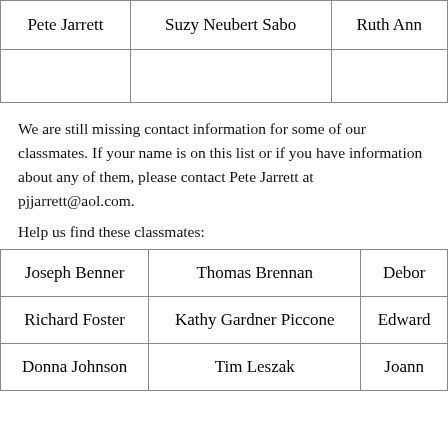| Pete Jarrett | Suzy Neubert Sabo | Ruth Ann… |
|  |  |  |
We are still missing contact information for some of our classmates. If your name is on this list or if you have information about any of them, please contact Pete Jarrett at pjjarrett@aol.com.
Help us find these classmates:
| Joseph Benner | Thomas Brennan | Debor… |
| Richard Foster | Kathy Gardner Piccone | Edward… |
| Donna Johnson | Tim Leszak | Joann… |